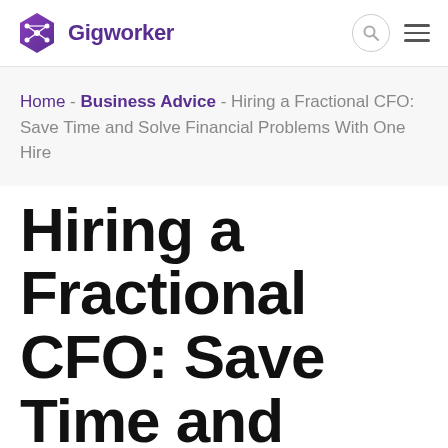Gigworker
Home - Business Advice - Hiring a Fractional CFO: Save Time and Solve Financial Problems With One Hire
Hiring a Fractional CFO: Save Time and Solve Financial